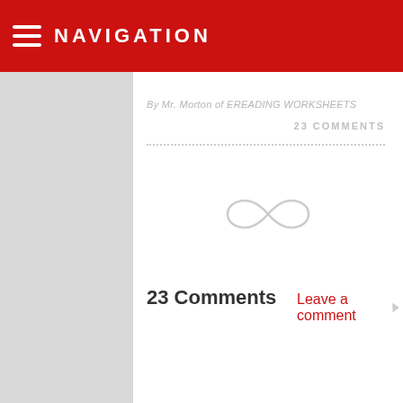NAVIGATION
By Mr. Morton of EREADING WORKSHEETS
23 COMMENTS
[Figure (illustration): Decorative infinity/swirl ornament in light gray]
23 Comments
Leave a comment